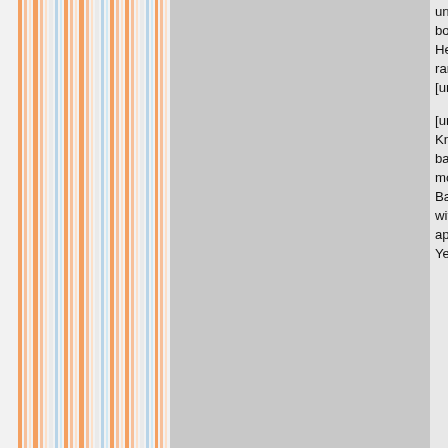[Figure (illustration): Left portion of page showing vertical color stripes (orange, peach, white, light blue, light gray tones) arranged in a decorative column pattern against a light gray/white background. A medium gray panel is adjacent to the stripes.]
unique opportunity to experience the women who represent the brand," sa Hennessy drinkers, offering a bold, g interact with the brand they love to e Hennessy Tour, including a full list of the Ladies, visit: .About HennessyHe the world, is imported and distributed subsidiary of LVMH (Moet Hennessy blends a full range of marques, inclu Hennessy X.O, Hennessy Paradis, a and Learn to Fly: Flying Trapeze Les [url=http://ugguk.discountsbootssale
[url=http://jacket-malls.co.uk/]belstaf Founded half a century ago by husb upscale fashion brand St. John Knits modest merchant of knit suits and dr powerhouse. Today, Rodeo Drive Re guaranteed Chanel bags, Gucci hee St. John Knits, is currently promoting over 300 new arrivals, huge savings $200 or more.Though the label has b several decades, shopRDR still carri John Knits, including:1)ST. JOHN BA Basics label are considered season or put on sale. Their classic jackets, of any St. John lover's wardrobe with as mentioned before, work beautifull SPORT: Designed with the younger modern and casual approach toward Comprised of coats, novelty, sweate Sport is considered by many to be th known as Yellow Label 3)ST. JOHN